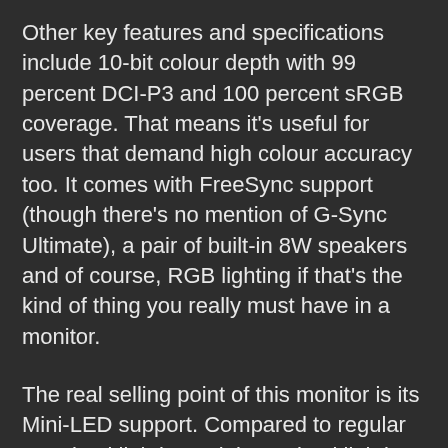Other key features and specifications include 10-bit colour depth with 99 percent DCI-P3 and 100 percent sRGB coverage. That means it's useful for users that demand high colour accuracy too. It comes with FreeSync support (though there's no mention of G-Sync Ultimate), a pair of built-in 8W speakers and of course, RGB lighting if that's the kind of thing you really must have in a monitor.
The real selling point of this monitor is its Mini-LED support. Compared to regular LCD backlighting, Mini-LED backlighting with its local dimming zones delivers better contrast ratios and deeper blacks, though not quite on the same level as OLEDs. Mini-LEDs tend to offer better